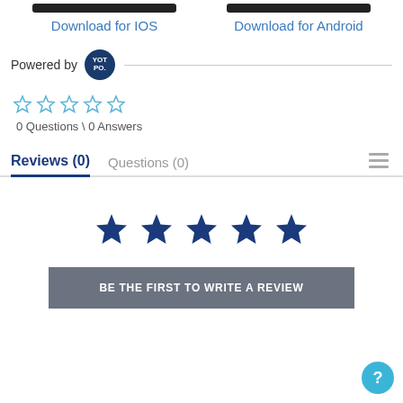Download for IOS
Download for Android
Powered by [YOTPO logo]
[Figure (other): Five empty star rating icons in blue outline]
0 Questions \ 0 Answers
Reviews (0)   Questions (0)
[Figure (other): Five filled dark blue star icons for rating]
BE THE FIRST TO WRITE A REVIEW